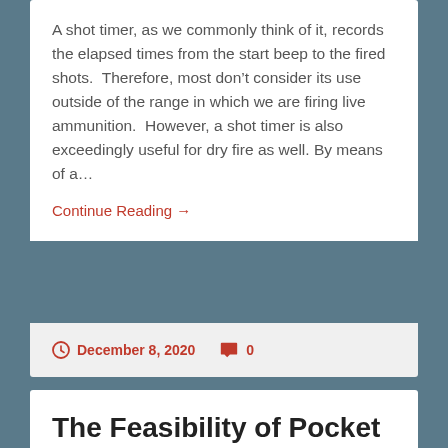A shot timer, as we commonly think of it, records the elapsed times from the start beep to the fired shots.  Therefore, most don't consider its use outside of the range in which we are firing live ammunition.  However, a shot timer is also exceedingly useful for dry fire as well. By means of a...
Continue Reading →
December 8, 2020   0
The Feasibility of Pocket Carry for Those Who Usually Don't